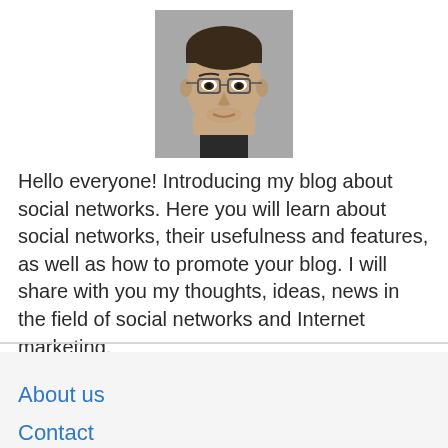[Figure (photo): Headshot photo of a young man with glasses and short dark hair, looking at camera, wearing a dark shirt, grey/neutral background]
Hello everyone! Introducing my blog about social networks. Here you will learn about social networks, their usefulness and features, as well as how to promote your blog. I will share with you my thoughts, ideas, news in the field of social networks and Internet marketing.
About us
Contact